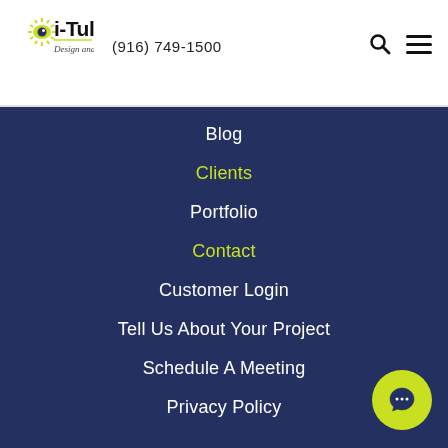i-Tul Design and Software — (916) 749-1500
Blog
Clients
Portfolio
Contact
Customer Login
Tell Us About Your Project
Schedule A Meeting
Privacy Policy